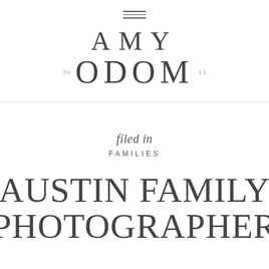[Figure (logo): Hamburger menu icon with three horizontal lines]
AMY ODOM 20 13
filed in
FAMILIES
AUSTIN FAMILY PHOTOGRAPHER